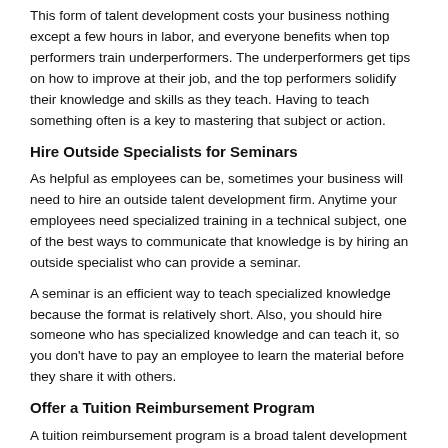This form of talent development costs your business nothing except a few hours in labor, and everyone benefits when top performers train underperformers. The underperformers get tips on how to improve at their job, and the top performers solidify their knowledge and skills as they teach. Having to teach something often is a key to mastering that subject or action.
Hire Outside Specialists for Seminars
As helpful as employees can be, sometimes your business will need to hire an outside talent development firm. Anytime your employees need specialized training in a technical subject, one of the best ways to communicate that knowledge is by hiring an outside specialist who can provide a seminar.
A seminar is an efficient way to teach specialized knowledge because the format is relatively short. Also, you should hire someone who has specialized knowledge and can teach it, so you don't have to pay an employee to learn the material before they share it with others.
Offer a Tuition Reimbursement Program
A tuition reimbursement program is a broad talent development strategy, for it encourages employees to pursue education in any manner of